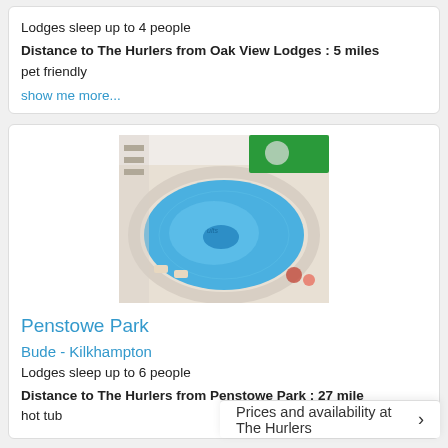Lodges sleep up to 4 people
Distance to The Hurlers from Oak View Lodges : 5 miles
pet friendly
show me more...
[Figure (photo): Indoor swimming pool with blue water, circular shape, seen from above, with green banner/sign visible]
Penstowe Park
Bude - Kilkhampton
Lodges sleep up to 6 people
Distance to The Hurlers from Penstowe Park : 27 miles
hot tub
Prices and availability at The Hurlers